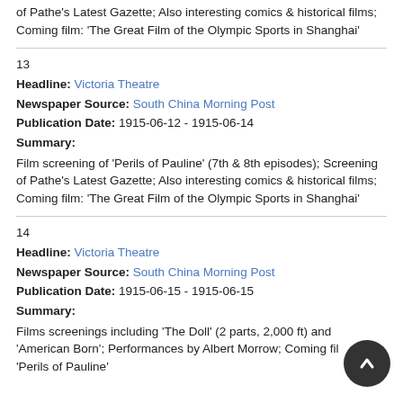of Pathe's Latest Gazette; Also interesting comics & historical films; Coming film: 'The Great Film of the Olympic Sports in Shanghai'
13
Headline: Victoria Theatre
Newspaper Source: South China Morning Post
Publication Date: 1915-06-12 - 1915-06-14
Summary:
Film screening of 'Perils of Pauline' (7th & 8th episodes); Screening of Pathe's Latest Gazette; Also interesting comics & historical films; Coming film: 'The Great Film of the Olympic Sports in Shanghai'
14
Headline: Victoria Theatre
Newspaper Source: South China Morning Post
Publication Date: 1915-06-15 - 1915-06-15
Summary:
Films screenings including 'The Doll' (2 parts, 2,000 ft) and 'American Born'; Performances by Albert Morrow; Coming film: 'Perils of Pauline'